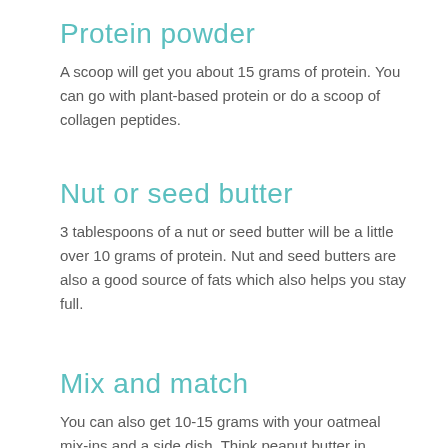Protein powder
A scoop will get you about 15 grams of protein. You can go with plant-based protein or do a scoop of collagen peptides.
Nut or seed butter
3 tablespoons of a nut or seed butter will be a little over 10 grams of protein. Nut and seed butters are also a good source of fats which also helps you stay full.
Mix and match
You can also get 10-15 grams with your oatmeal mix-ins and a side dish. Think peanut butter in